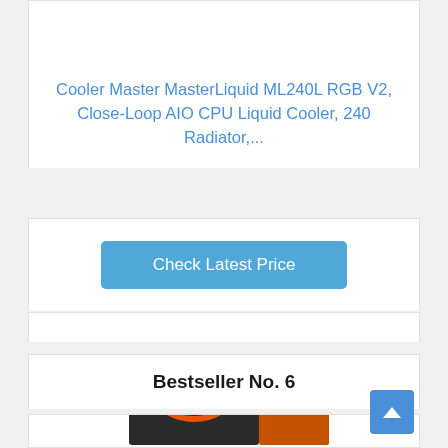Cooler Master MasterLiquid ML240L RGB V2, Close-Loop AIO CPU Liquid Cooler, 240 Radiator,...
Check Latest Price
Bestseller No. 6
[Figure (photo): AMD Ryzen processor product box showing RYZEN branding with AMD logo and orange/black color scheme]